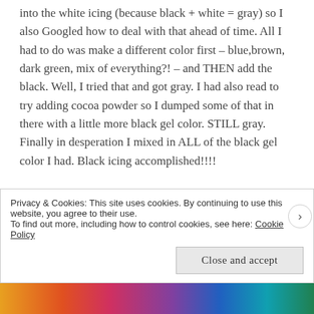into the white icing (because black + white = gray) so I also Googled how to deal with that ahead of time. All I had to do was make a different color first – blue,brown, dark green, mix of everything?! – and THEN add the black. Well, I tried that and got gray. I had also read to try adding cocoa powder so I dumped some of that in there with a little more black gel color. STILL gray. Finally in desperation I mixed in ALL of the black gel color I had. Black icing accomplished!!!!
So I outlined and flooded and let them dry overnight,
Privacy & Cookies: This site uses cookies. By continuing to use this website, you agree to their use.
To find out more, including how to control cookies, see here: Cookie Policy
Close and accept